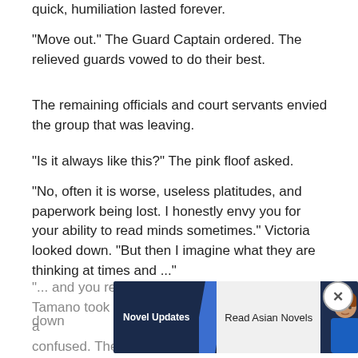quick, humiliation lasted forever.
"Move out." The Guard Captain ordered. The relieved guards vowed to do their best.
The remaining officials and court servants envied the group that was leaving.
"Is it always like this?" The pink floof asked.
"No, often it is worse, useless platitudes, and paperwork being lost. I honestly envy you for your ability to read minds sometimes." Victoria looked down. "But then I imagine what they are thinking at times and ..."
"... and you realise that it is a terrible idea~" Tamano took a hand a                                                                          on down                                                                          ery confused. They wonder who your mate is."
[Figure (infographic): Advertisement banner for Novel Updates - Read Asian Novels, with dark navy background on left showing 'Novel Updates' text, a diagonal blue stripe divider, light background on right showing 'Read Asian Novels' text, and an anime character icon on far right.]